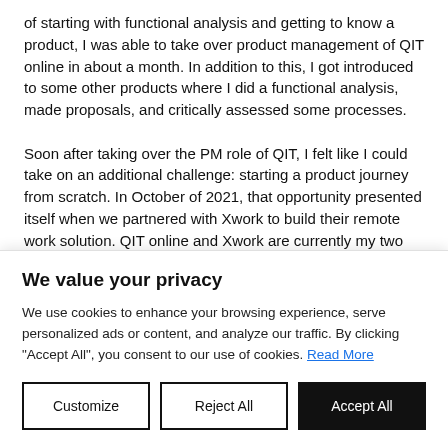of starting with functional analysis and getting to know a product, I was able to take over product management of QIT online in about a month. In addition to this, I got introduced to some other products where I did a functional analysis, made proposals, and critically assessed some processes.
Soon after taking over the PM role of QIT, I felt like I could take on an additional challenge: starting a product journey from scratch. In October of 2021, that opportunity presented itself when we partnered with Xwork to build their remote work solution. QIT online and Xwork are currently my two main focuses, with certain smaller things in between.
We value your privacy
We use cookies to enhance your browsing experience, serve personalized ads or content, and analyze our traffic. By clicking "Accept All", you consent to our use of cookies. Read More